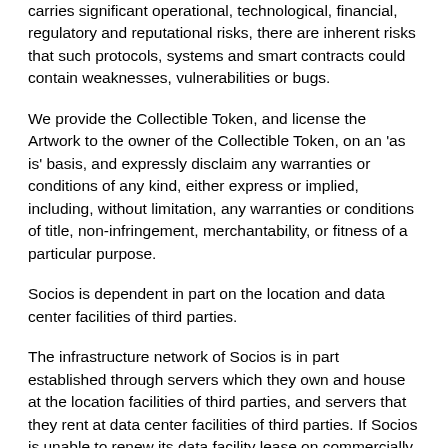carries significant operational, technological, financial, regulatory and reputational risks, there are inherent risks that such protocols, systems and smart contracts could contain weaknesses, vulnerabilities or bugs.
We provide the Collectible Token, and license the Artwork to the owner of the Collectible Token, on an 'as is' basis, and expressly disclaim any warranties or conditions of any kind, either express or implied, including, without limitation, any warranties or conditions of title, non-infringement, merchantability, or fitness of a particular purpose.
Socios is dependent in part on the location and data center facilities of third parties.
The infrastructure network of Socios is in part established through servers which they own and house at the location facilities of third parties, and servers that they rent at data center facilities of third parties. If Socios is unable to renew its data facility lease on commercially reasonable terms or at all, the Socios may be required to transfer their Services to a new data center facility and may incur significant costs and possible service